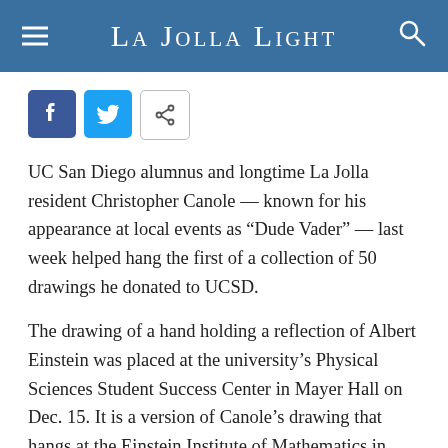La Jolla Light
[Figure (other): Social sharing buttons: Facebook (blue), Twitter (blue), and a share icon (outlined)]
UC San Diego alumnus and longtime La Jolla resident Christopher Canole — known for his appearance at local events as “Dude Vader” — last week helped hang the first of a collection of 50 drawings he donated to UCSD.
The drawing of a hand holding a reflection of Albert Einstein was placed at the university’s Physical Sciences Student Success Center in Mayer Hall on Dec. 15. It is a version of Canole’s drawing that hangs at the Einstein Institute of Mathematics in Jerusalem